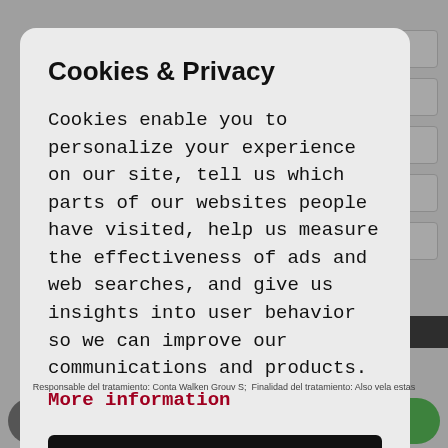Cookies & Privacy
Cookies enable you to personalize your experience on our site, tell us which parts of our websites people have visited, help us measure the effectiveness of ads and web searches, and give us insights into user behavior so we can improve our communications and products.
More information
Accept All Cookies
Customise Cookies
ion being used
dded to our
✉ CONTACT   © WHATSAPP
Responsable del tratamiento: Conta Walken Grouv S;  Finalidad del tratamiento: Also vela estas